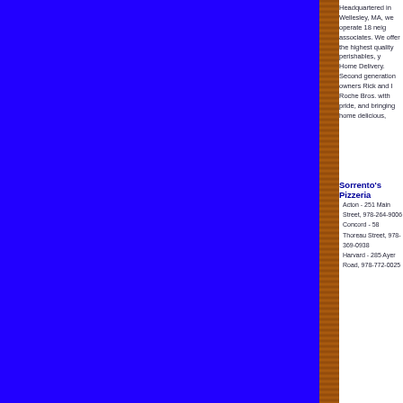Headquartered in Wellesley, MA, we operate 18 neighborhood supermarkets employing more than 3,000 associates. We offer the highest quality perishables, you can also go online and order your groceries through our Home Delivery. Second generation owners Rick and Pat Roche lead a talented team of associates in serving Roche Bros. with pride, and bringing home delicious,
Sorrento's Pizzeria
Acton - 251 Main Street, 978-264-9006
Concord - 58 Thoreau Street, 978-369-0938
Harvard - 285 Ayer Road, 978-772-0025